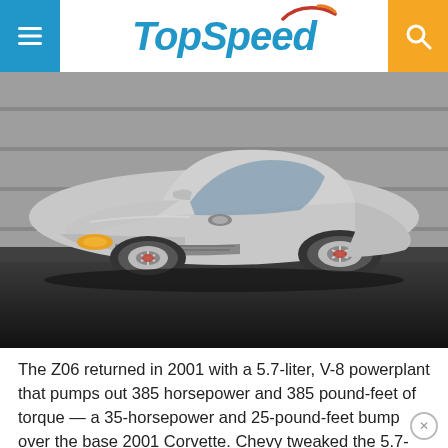TopSpeed
[Figure (photo): Silver Chevrolet Corvette Z06 convertible photographed from a low front-three-quarter angle on a dark track surface with a gray wall background.]
The Z06 returned in 2001 with a 5.7-liter, V-8 powerplant that pumps out 385 horsepower and 385 pound-feet of torque — a 35-horsepower and 25-pound-feet bump over the base 2001 Corvette. Chevy tweaked the 5.7-liter to 405 ponies and 400 pound-feet of twist the following year, and it carried that setup through its final year — 2004.